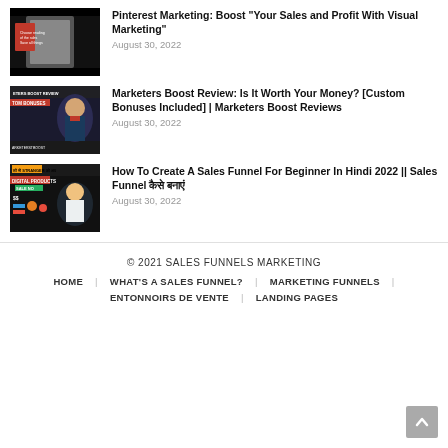[Figure (photo): Thumbnail image for Pinterest Marketing article showing a tablet/ereader with a red book on a dark background]
Pinterest Marketing: Boost "Your Sales and Profit With Visual Marketing"
August 30, 2022
[Figure (photo): Thumbnail image for Marketers Boost Review article showing a man in a suit with red bow tie on a dark background with text overlays]
Marketers Boost Review: Is It Worth Your Money? [Custom Bonuses Included] | Marketers Boost Reviews
August 30, 2022
[Figure (photo): Thumbnail image for Sales Funnel article showing people with dollar signs and product graphics on a dark background]
How To Create A Sales Funnel For Beginner In Hindi 2022 || Sales Funnel कैसे बनाएं
August 30, 2022
© 2021 SALES FUNNELS MARKETING
HOME | WHAT'S A SALES FUNNEL? | MARKETING FUNNELS | ENTONNOIRS DE VENTE | LANDING PAGES